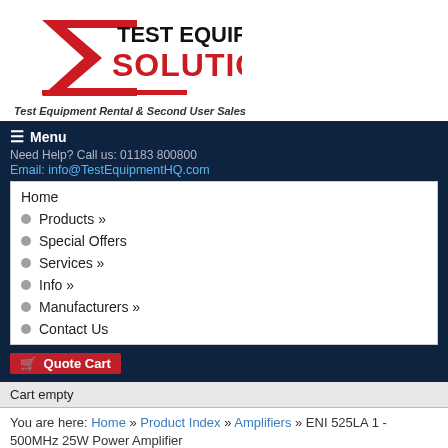[Figure (logo): Test Equipment Solutions logo with red sigma/arrow shape and tagline 'Test Equipment Rental & Second User Sales']
≡ Menu
Need Help? Call us: 01183 800800
Email: info@TestEquipmentHQ.com
Home
Products »
Special Offers
Services »
Info »
Manufacturers »
Contact Us
🛒 Quote Cart
Cart empty
You are here: Home » Product Index » Amplifiers » ENI 525LA 1 - 500MHz 25W Power Amplifier
Product Search
Search...
Search Tips ℹ